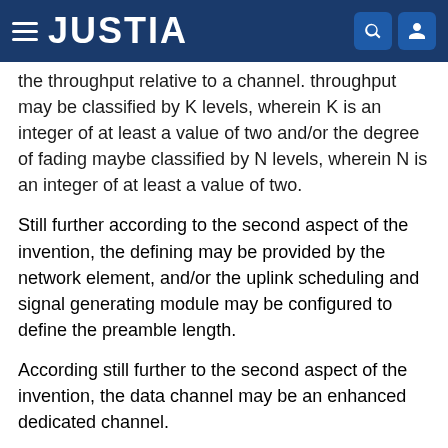JUSTIA
the throughput relative to a channel. throughput may be classified by K levels, wherein K is an integer of at least a value of two and/or the degree of fading maybe classified by N levels, wherein N is an integer of at least a value of two.
Still further according to the second aspect of the invention, the defining may be provided by the network element, and/or the uplink scheduling and signal generating module may be configured to define the preamble length.
According still further to the second aspect of the invention, the data channel may be an enhanced dedicated channel.
According further still to the second aspect of the invention, the preamble length may further depend on a